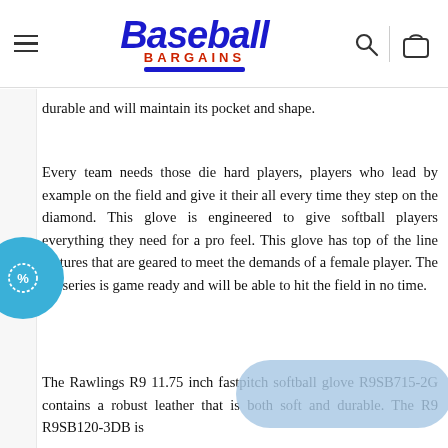Baseball Bargains
durable and will maintain its pocket and shape.
Every team needs those die hard players, players who lead by example on the field and give it their all every time they step on the diamond. This glove is engineered to give softball players everything they need for a pro feel. This glove has top of the line features that are geared to meet the demands of a female player. The R9 series is game ready and will be able to hit the field in no time.
The Rawlings R9 11.75 inch fastpitch softball glove R9SB715-2G contains a robust leather that is both soft and durable. The R9 R9SB120-3DB is